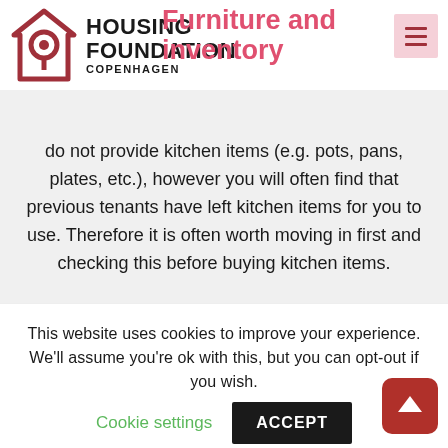[Figure (logo): Housing Foundation Copenhagen logo with house/location pin icon in dark red and bold text]
Furniture and inventory
...never provide bedlinen, duvets, or pillows. Please bring or buy what you require. We also do not provide kitchen items (e.g. pots, pans, plates, etc.), however you will often find that previous tenants have left kitchen items for you to use. Therefore it is often worth moving in first and checking this before buying kitchen items.
Inventory list
This website uses cookies to improve your experience. We'll assume you're ok with this, but you can opt-out if you wish.
Cookie settings
ACCEPT